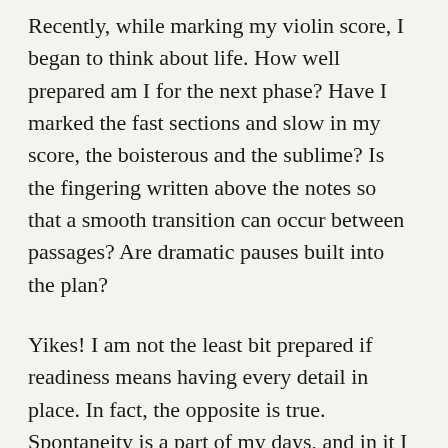Recently, while marking my violin score, I began to think about life. How well prepared am I for the next phase? Have I marked the fast sections and slow in my score, the boisterous and the sublime? Is the fingering written above the notes so that a smooth transition can occur between passages? Are dramatic pauses built into the plan?
Yikes! I am not the least bit prepared if readiness means having every detail in place. In fact, the opposite is true. Spontaneity is a part of my days, and in it I find joy and excitement. Of course, having a plan is important and success is usually related to good organization. However, plans change, other people show up, the music stops and